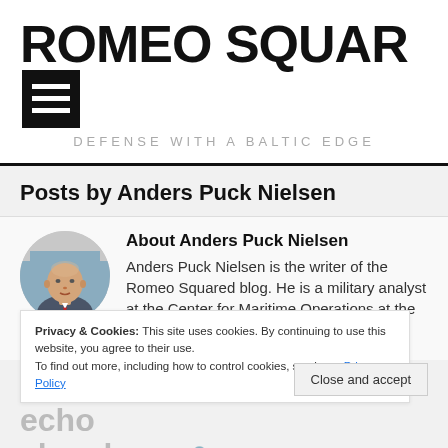ROMEO SQUARED
DEFENSE WITH A BALTIC EDGE
Posts by Anders Puck Nielsen
[Figure (photo): Circular headshot photo of Anders Puck Nielsen, a bald man wearing a suit jacket]
About Anders Puck Nielsen
Anders Puck Nielsen is the writer of the Romeo Squared blog. He is a military analyst at the Center for Maritime Operations at the Royal Danish Defence College.
Privacy & Cookies: This site uses cookies. By continuing to use this website, you agree to their use.
To find out more, including how to control cookies, see here: Privacy Policy
On epistemic bubbles and echo chambers